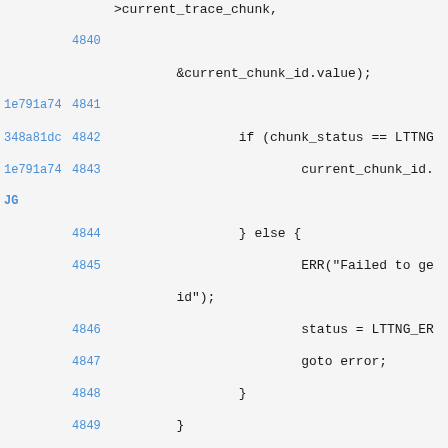Code view showing lines 4840-4852 of a C source file with git blame annotations
4840: &current_chunk_id.value);
1e791a74 4841:
348a81dc 4842: if (chunk_status == LTTNG
1e791a74 4843: current_chunk_id. JG
4844: } else {
4845: ERR("Failed to ge id");
4846: status = LTTNG_ER
4847: goto error;
4848: }
4849: }
4850:
6dc3064a 4851: /* Ignore if snapshot consumer ou
348a81dc 4852: if (output->type != CONSUMER_DST_